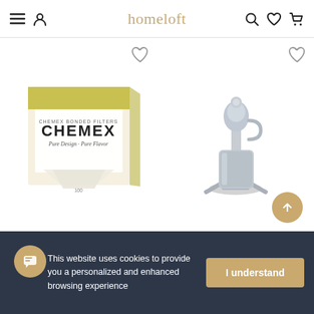homeloft — navigation header with menu, profile, search, wishlist, cart icons
[Figure (photo): Chemex brand coffee filter papers box product photo]
[Figure (photo): Chrome milkshake mixer / drink mixer standalone product photo]
This website uses cookies to provide you a personalized and enhanced browsing experience
I understand